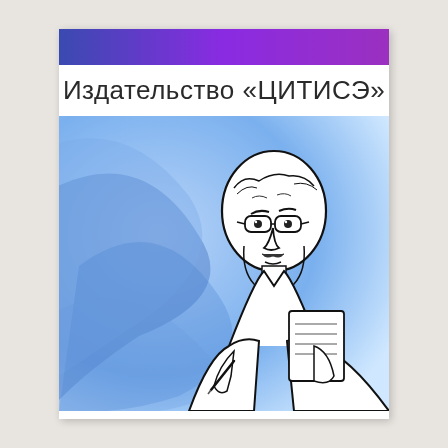[Figure (illustration): Publisher logo/cover: a gradient purple-blue bar at top, white band with Russian text 'Издательство «ЦИТИСЭ»', below a blue abstract wave background with a black-and-white line-art illustration of a bespectacled middle-aged man holding papers and a pen.]
Издательство «ЦИТИСЭ»